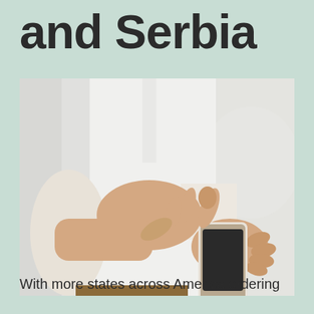and Serbia
[Figure (photo): Close-up of a person in a white shirt using a smartphone, tapping the screen with one finger while holding the phone in the other hand.]
With more states across America ordering